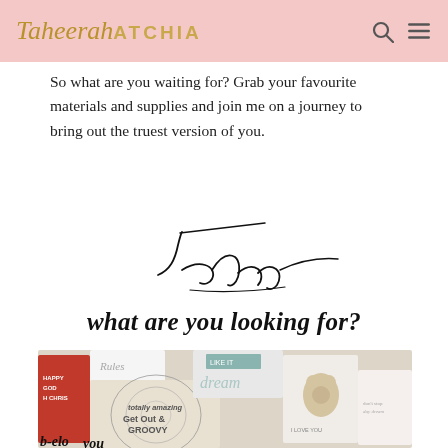Taheerah ATCHIA
So what are you waiting for? Grab your favourite materials and supplies and join me on a journey to bring out the truest version of you.
[Figure (illustration): Handwritten cursive signature reading 'Taheerah']
what are you looking for?
[Figure (photo): A photo collage of various greeting cards and craft projects including cards with text 'Rules', 'dream', 'Get Out & Groovy', 'I Love You', and other handmade cards with illustrations]